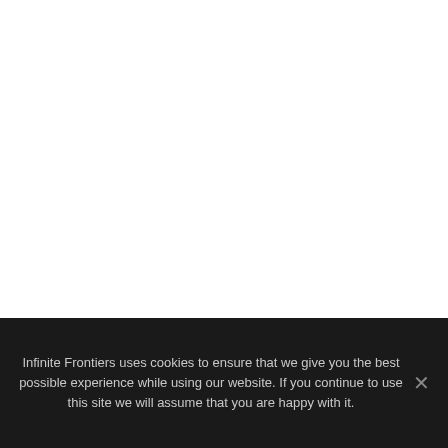Infinite Frontiers uses cookies to ensure that we give you the best possible experience while using our website. If you continue to use this site we will assume that you are happy with it.